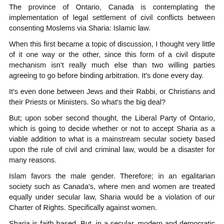The province of Ontario, Canada is contemplating the implementation of legal settlement of civil conflicts between consenting Moslems via Sharia: Islamic law.
When this first became a topic of discussion, I thought very little of it one way or the other, since this form of a civil dispute mechanism isn't really much else than two willing parties agreeing to go before binding arbitration. It's done every day.
It's even done between Jews and their Rabbi, or Christians and their Priests or Ministers. So what's the big deal?
But; upon sober second thought, the Liberal Party of Ontario, which is going to decide whether or not to accept Sharia as a viable addition to what is a mainstream secular society based upon the rule of civil and criminal law, would be a disaster for many reasons.
Islam favors the male gender. Therefore; in an egalitarian society such as Canada's, where men and women are treated equally under secular law, Sharia would be a violation of our Charter of Rights. Specifically against women.
Sharia is faith based. But, in a secular, modern and democratic society, there must be no room WHATSOEVER for the rule of law based upon any religious faith.
One of the greatest strengths of Western style democracies is its separation of church and state. The greater the separation the better.